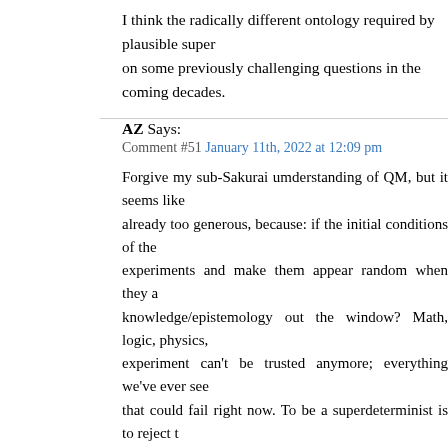I think the radically different ontology required by plausible superdeterminism might help us make progress on some previously challenging questions in the coming decades.
AZ Says:
Comment #51 January 11th, 2022 at 12:09 pm

Forgive my sub-Sakurai umderstanding of QM, but it seems like this concession is already too generous, because: if the initial conditions of the universe can rig experiments and make them appear random when they aren't, doesn't that throw knowledge/epistemology out the window? Math, logic, physics, and every other experiment can't be trusted anymore; everything we've ever seen and measured is data that could fail right now. To be a superdeterminist is to reject the scientific method. Every equation may ne wrong, just formulated from the universe's perspective to appear consistent due to chance.
Scott Says:
Comment #52 January 11th, 2022 at 12:11 pm

fred #34: Sure, perfect statistical independence might be an illusion, but with good enough statistical independence, experimental science works fine. As Sabine herself says, how could we ever do vaccine trials, if we couldn't separate the control and intervention groups—if, every time we tried that, the universe conspired...